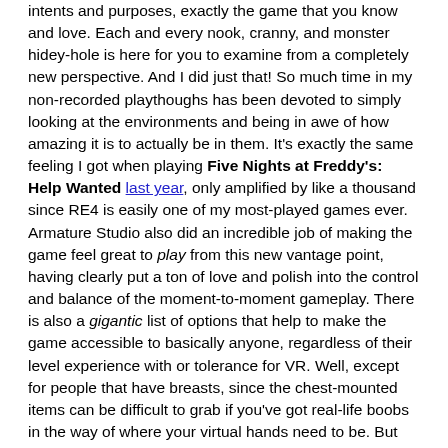intents and purposes, exactly the game that you know and love. Each and every nook, cranny, and monster hidey-hole is here for you to examine from a completely new perspective. And I did just that! So much time in my non-recorded playthoughs has been devoted to simply looking at the environments and being in awe of how amazing it is to actually be in them. It's exactly the same feeling I got when playing Five Nights at Freddy's: Help Wanted last year, only amplified by like a thousand since RE4 is easily one of my most-played games ever. Armature Studio also did an incredible job of making the game feel great to play from this new vantage point, having clearly put a ton of love and polish into the control and balance of the moment-to-moment gameplay. There is also a gigantic list of options that help to make the game accessible to basically anyone, regardless of their level experience with or tolerance for VR. Well, except for people that have breasts, since the chest-mounted items can be difficult to grab if you've got real-life boobs in the way of where your virtual hands need to be. But my moobs are small enough that they didn't cause me any issues, and as such, my four playthroughs of the game have nothing but absolute bliss.